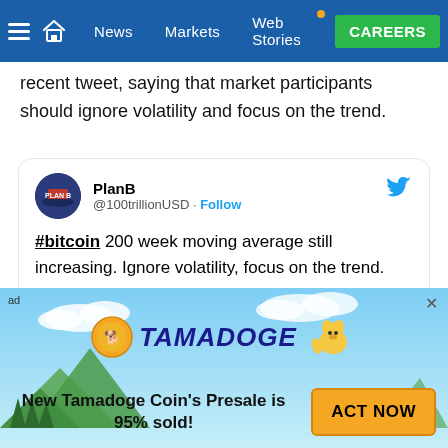News | Markets | Web Stories | CAREERS
recent tweet, saying that market participants should ignore volatility and focus on the trend.
[Figure (screenshot): Tweet from PlanB (@100trillionUSD): '#bitcoin 200 week moving average still increasing. Ignore volatility, focus on the trend.' with a partial chart of Bitcoin 200 Week Moving Average (200WMA) showing colored dots and a trend line.]
[Figure (infographic): Advertisement banner for Tamadoge Coin. Text: 'New Tamadoge Coin's Presale is 95% sold!' with an ACT NOW button in orange.]